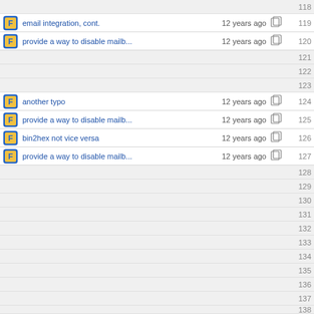118 (empty row)
email integration, cont. — 12 years ago — 119
provide a way to disable mailb... — 12 years ago — 120
121 (empty row)
122 (empty row)
123 (empty row)
another typo — 12 years ago — 124
provide a way to disable mailb... — 12 years ago — 125
bin2hex not vice versa — 12 years ago — 126
provide a way to disable mailb... — 12 years ago — 127
128 (empty row)
129 (empty row)
130 (empty row)
131 (empty row)
132 (empty row)
133 (empty row)
134 (empty row)
135 (empty row)
136 (empty row)
137 (empty row)
138 (empty row)